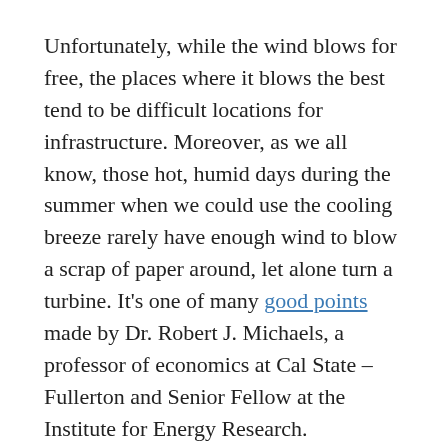Unfortunately, while the wind blows for free, the places where it blows the best tend to be difficult locations for infrastructure. Moreover, as we all know, those hot, humid days during the summer when we could use the cooling breeze rarely have enough wind to blow a scrap of paper around, let alone turn a turbine. It's one of many good points made by Dr. Robert J. Michaels, a professor of economics at Cal State – Fullerton and Senior Fellow at the Institute for Energy Research.
Surely some will counter with the fact that fossil fuel industries have their own set of tax benefits and these subsidies for wind energy